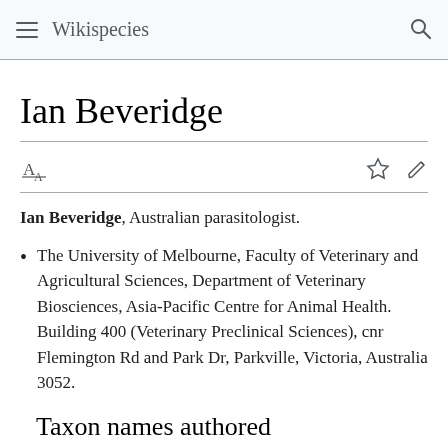Wikispecies
Ian Beveridge
Ian Beveridge, Australian parasitologist.
The University of Melbourne, Faculty of Veterinary and Agricultural Sciences, Department of Veterinary Biosciences, Asia-Pacific Centre for Animal Health. Building 400 (Veterinary Preclinical Sciences), cnr Flemington Rd and Park Dr, Parkville, Victoria, Australia 3052.
Taxon names authored